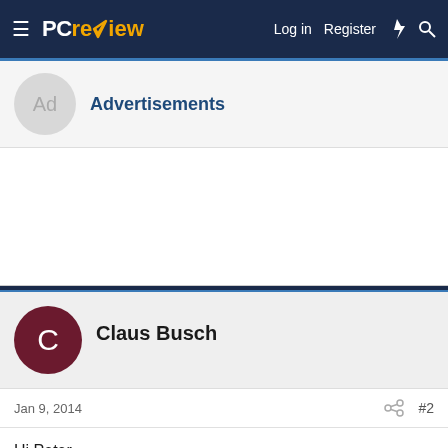PC review — Log in  Register
Advertisements
[Figure (other): Empty advertisement content area]
Claus Busch
Jan 9, 2014  #2
Hi Peter,